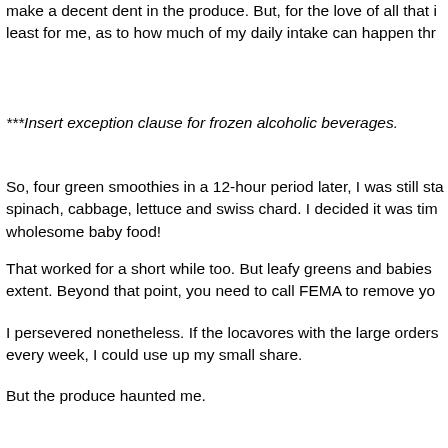make a decent dent in the produce. But, for the love of all that is holy, there is a limit, at least for me, as to how much of my daily intake can happen thr
***Insert exception clause for frozen alcoholic beverages.
So, four green smoothies in a 12-hour period later, I was still sta spinach, cabbage, lettuce and swiss chard. I decided it was tim wholesome baby food!
That worked for a short while too. But leafy greens and babies extent. Beyond that point, you need to call FEMA to remove yo
I persevered nonetheless. If the locavores with the large orders every week, I could use up my small share.
But the produce haunted me.
Here's the thing. While I do eat a good amount of fruit and vege purchase in small quantities gal and less of a meal planner/buy the problem. It's not that I don't like the food. It's not that I don't freshness. I just lack the foresight to be able to get my money's week.